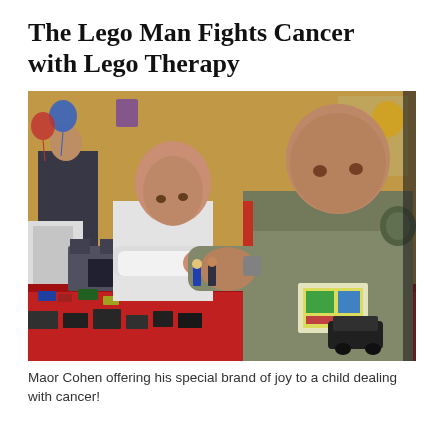The Lego Man Fights Cancer with Lego Therapy
[Figure (photo): A man in a military-style grey uniform leans over a table covered with a red tablecloth, helping a bald child build a Lego set. Lego pieces and a Lego castle structure are on the table. In the background, a yellow-walled room with balloons and other children is visible.]
Maor Cohen offering his special brand of joy to a child dealing with cancer!